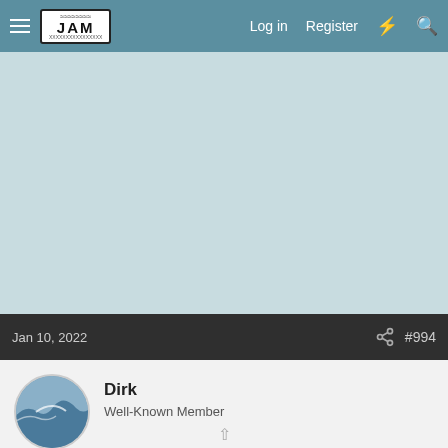Log in  Register
[Figure (photo): Large image area with light blue-grey background, likely a forum post image]
Jan 10, 2022  #994
Dirk
Well-Known Member